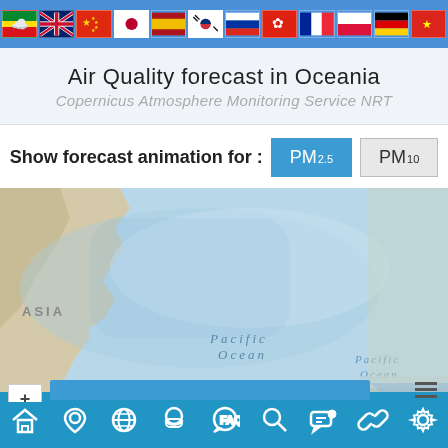[Figure (infographic): Flag bar with multiple national flags: Ethiopia/mixed, UK, China, Japan, Spain, South Korea, Russia, Hong Kong, France, Poland, Germany, Vietnam]
Air Quality forecast in Oceania
Copernicus Atmosphere Monitoring Service NRT
Show forecast animation for :  PM2.5  PM10
[Figure (map): Interactive map showing Asia-Pacific region, with Pacific Ocean labeled, air quality overlay. Zoom controls (+/-) on left. Timeline slider and menu icon at top. Chevron navigation arrows on right side.]
[Figure (infographic): Bottom navigation bar with icons: home, location pin, globe, mask/face, FAQ chat bubble, search/magnify, chat/support, link, settings gear]